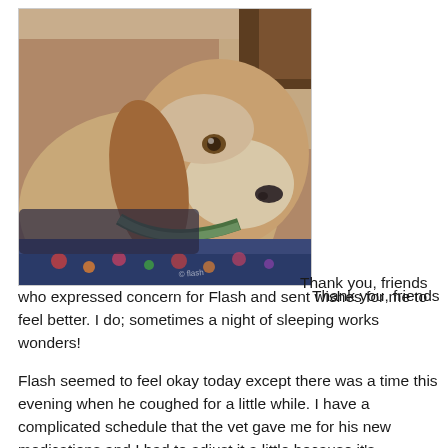[Figure (photo): Close-up photograph of an older beagle dog with a graying muzzle, resting its head on a colorful floral blanket/pillow. The dog is wearing a green collar with a yellow tag. The background shows a couch. A watermark/signature is visible in the lower right corner of the photo.]
Thank you, friends who expressed concern for Flash and sent wishes for me to feel better. I do; sometimes a night of sleeping works wonders!
Flash seemed to feel okay today except there was a time this evening when he coughed for a little while. I have a complicated schedule that the vet gave me for his new medications and I had to adjust it a little because it's impractical to give him one pill at 1:00 AM and then start the